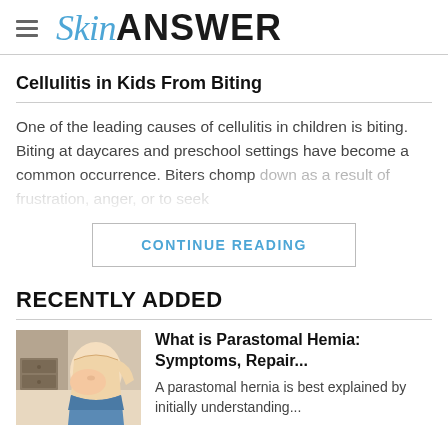SkinANSWER
Cellulitis in Kids From Biting
One of the leading causes of cellulitis in children is biting. Biting at daycares and preschool settings have become a common occurrence. Biters chomp down as a result of frustration, anger, or to seek...
CONTINUE READING
RECENTLY ADDED
[Figure (illustration): Medical illustration of a person with a parastomal hernia bulge at the abdomen, wearing blue pants, shown from the side]
What is Parastomal Hemia: Symptoms, Repair...
A parastomal hernia is best explained by initially understanding...